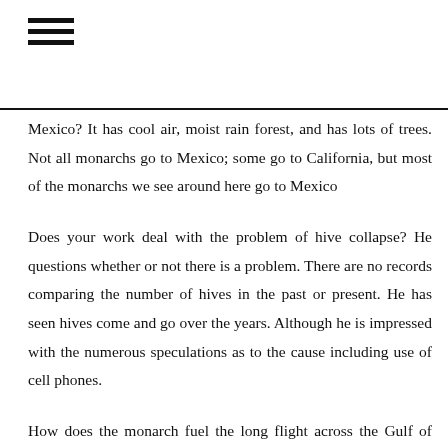≡
Mexico? It has cool air, moist rain forest, and has lots of trees. Not all monarchs go to Mexico; some go to California, but most of the monarchs we see around here go to Mexico
Does your work deal with the problem of hive collapse? He questions whether or not there is a problem. There are no records comparing the number of hives in the past or present. He has seen hives come and go over the years. Although he is impressed with the numerous speculations as to the cause including use of cell phones.
How does the monarch fuel the long flight across the Gulf of Mexico?  It remains a mystery. It's magic.